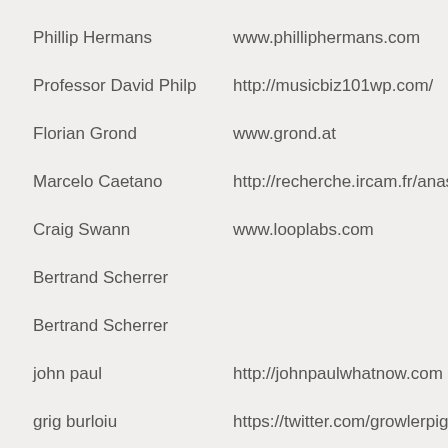Phillip Hermans	www.philliphermans.com
Professor David Philp	http://musicbiz101wp.com/
Florian Grond	www.grond.at
Marcelo Caetano	http://recherche.ircam.fr/anasyn/
Craig Swann	www.looplabs.com
Bertrand Scherrer
Bertrand Scherrer
john paul	http://johnpaulwhatnow.com
grig burloiu	https://twitter.com/growlerpig